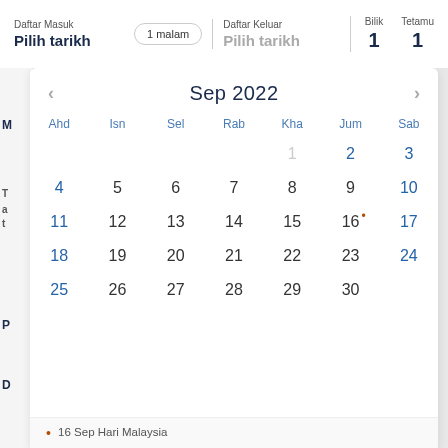Daftar Masuk
Pilih tarikh
1 malam
Daftar Keluar
Pilih tarikh
Bilik 1
Tetamu 1
[Figure (other): September 2022 calendar showing dates 1-30 with day headers Ahd, Isn, Sel, Rab, Kha, Jum, Sab. Date 16 has a holiday dot. Date 1 is grayed out.]
• 16 Sep Hari Malaysia